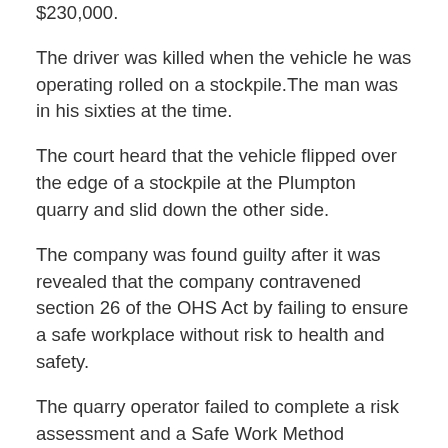$230,000.
The driver was killed when the vehicle he was operating rolled on a stockpile.The man was in his sixties at the time.
The court heard that the vehicle flipped over the edge of a stockpile at the Plumpton quarry and slid down the other side.
The company was found guilty after it was revealed that the company contravened section 26 of the OHS Act by failing to ensure a safe workplace without risk to health and safety.
The quarry operator failed to complete a risk assessment and a Safe Work Method Statement for the work being carried out. The investigation also found the company failed to take the reasonable steps to eliminate or remove the risks including ensuring the perimeter of the stockpile